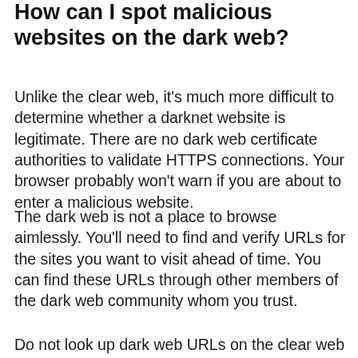How can I spot malicious websites on the dark web?
Unlike the clear web, it’s much more difficult to determine whether a darknet website is legitimate. There are no dark web certificate authorities to validate HTTPS connections. Your browser probably won’t warn if you are about to enter a malicious website.
The dark web is not a place to browse aimlessly. You’ll need to find and verify URLs for the sites you want to visit ahead of time. You can find these URLs through other members of the dark web community whom you trust.
Do not look up dark web URLs on the clear web